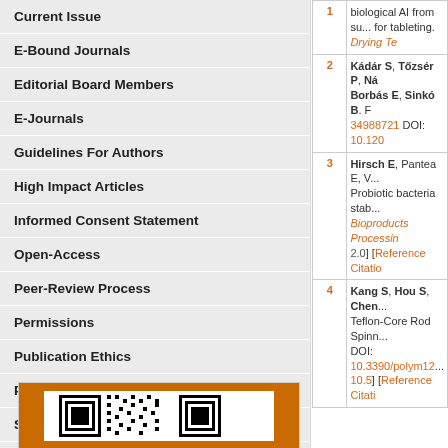Current Issue
E-Bound Journals
Editorial Board Members
E-Journals
Guidelines For Authors
High Impact Articles
Informed Consent Statement
Open-Access
Peer-Review Process
Permissions
Publication Ethics
Publication Misconduct
Statement of Human and Animal
Steps for Submitting Manuscripts
Submit a Manuscript
[Figure (other): QR code with orange border at bottom of left column]
| # | Reference |
| --- | --- |
| 1 | biological AI from su... for tableting. Drying Te... |
| 2 | Kádár S, Tőzsér P, Ná... Borbás E, Sinkó B. F... 34988721 DOI: 10.120... |
| 3 | Hirsch E, Pantea E, V... Probiotic bacteria stab... Bioproducts Processing... 2.0] [Reference Citatio... |
| 4 | Kang S, Hou S, Chen... Teflon-Core Rod Spinn... DOI: 10.3390/polym12... 10.5] [Reference Citati... |